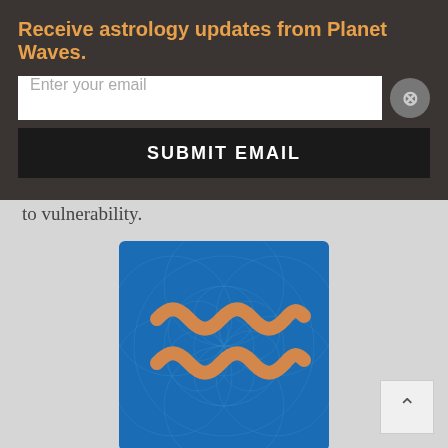Receive astrology updates from Planet Waves.
Enter your email
SUBMIT EMAIL
to how that came to be. Once again it comes back to vulnerability.
[Figure (illustration): Aquarius zodiac symbol (two wavy lines) in orange/gold on a blue geometric flower-of-life background]
Aquarius (Jan. 20-Feb. 19) — There's a direct relationship between insecurity that has its root in a sense of being injured, and the potential to be an equal partner to others. The two ideas mirror one another. If you have some sense of yourself as